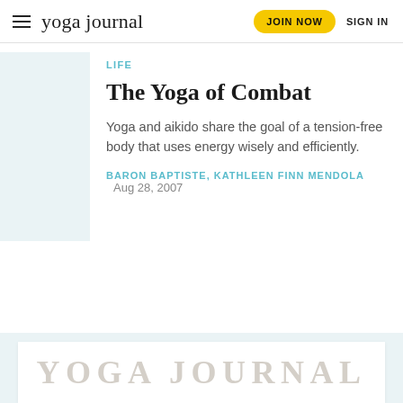yoga journal | JOIN NOW | SIGN IN
LIFE
The Yoga of Combat
Yoga and aikido share the goal of a tension-free body that uses energy wisely and efficiently.
BARON BAPTISTE, KATHLEEN FINN MENDOLA   Aug 28, 2007
[Figure (logo): YOGA JOURNAL large text logo at bottom of page]